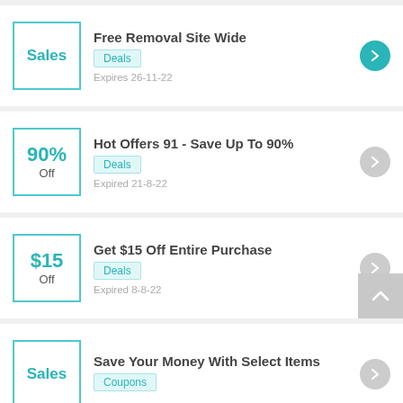Free Removal Site Wide | Deals | Expires 26-11-22
Hot Offers 91 - Save Up To 90% | Deals | Expired 21-8-22
Get $15 Off Entire Purchase | Deals | Expired 8-8-22
Save Your Money With Select Items | Coupons